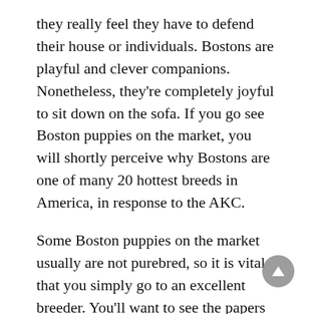they really feel they have to defend their house or individuals. Bostons are playful and clever companions. Nonetheless, they're completely joyful to sit down on the sofa. If you go see Boston puppies on the market, you will shortly perceive why Bostons are one of many 20 hottest breeds in America, in response to the AKC.
Some Boston puppies on the market usually are not purebred, so it is vital that you simply go to an excellent breeder. You'll want to see the papers of the puppies' dad and mom and to get references. Choosing your pet will not be simple as a result of all child Bostons are so cute. Whichever pet you select, you'll be so joyful you determined to get a Boston terrier.